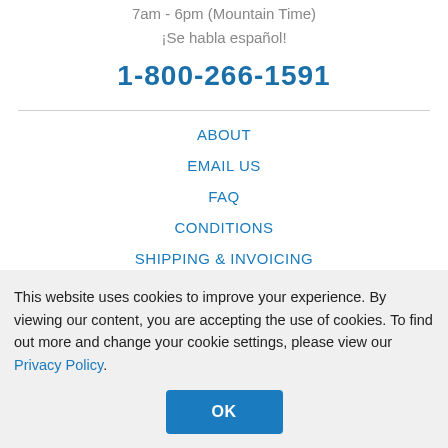7am - 6pm (Mountain Time)
¡Se habla español!
1-800-266-1591
ABOUT
EMAIL US
FAQ
CONDITIONS
SHIPPING & INVOICING
TERMS OF PURCHASE
This website uses cookies to improve your experience. By viewing our content, you are accepting the use of cookies. To find out more and change your cookie settings, please view our Privacy Policy.